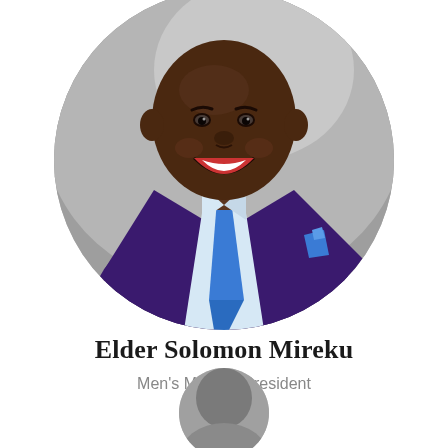[Figure (photo): Circular cropped professional headshot of Elder Solomon Mireku, a man wearing a purple blazer, light blue dress shirt, and blue tie with a blue pocket square, smiling broadly. Background is gray.]
Elder Solomon Mireku
Men's Ministry President
[Figure (photo): Partial circular cropped photo at the bottom of the page, showing the top portion of another person's headshot.]